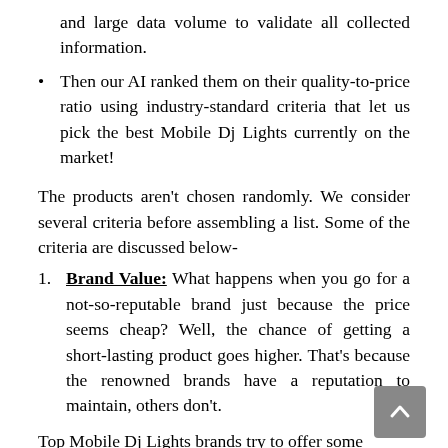and large data volume to validate all collected information.
Then our AI ranked them on their quality-to-price ratio using industry-standard criteria that let us pick the best Mobile Dj Lights currently on the market!
The products aren't chosen randomly. We consider several criteria before assembling a list. Some of the criteria are discussed below-
Brand Value: What happens when you go for a not-so-reputable brand just because the price seems cheap? Well, the chance of getting a short-lasting product goes higher. That's because the renowned brands have a reputation to maintain, others don't.
Top Mobile Dj Lights brands try to offer some